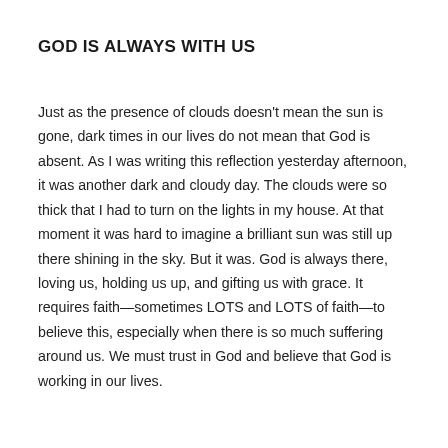GOD IS ALWAYS WITH US
Just as the presence of clouds doesn't mean the sun is gone, dark times in our lives do not mean that God is absent. As I was writing this reflection yesterday afternoon, it was another dark and cloudy day. The clouds were so thick that I had to turn on the lights in my house. At that moment it was hard to imagine a brilliant sun was still up there shining in the sky. But it was. God is always there, loving us, holding us up, and gifting us with grace. It requires faith—sometimes LOTS and LOTS of faith—to believe this, especially when there is so much suffering around us. We must trust in God and believe that God is working in our lives.